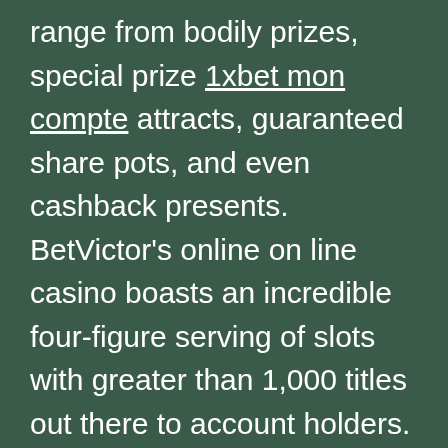range from bodily prizes, special prize 1xbet mon compte attracts, guaranteed share pots, and even cashback presents. BetVictor's online on line casino boasts an incredible four-figure serving of slots with greater than 1,000 titles out there to account holders. Play one slot a day and that'll maintain you going for greater than three years. Live casino choices are vastly well-liked at UK online casino sites as they mix comfort with the atmosphere and social elements of visiting a physical on line casino setting. There are plenty of payment methods that UK gamers can use to get started playing by topping up their bankroll